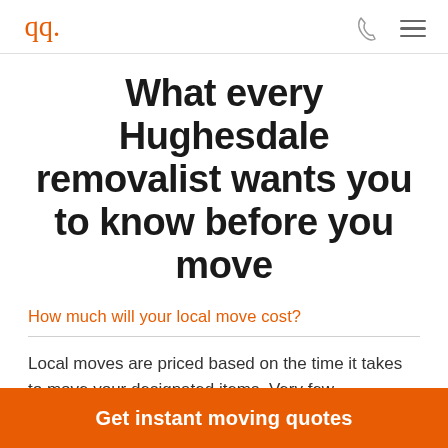[logo] [phone icon] [menu icon]
What every Hughesdale removalist wants you to know before you move
How much will your local move cost?
Local moves are priced based on the time it takes to move your designated items. Very few removalists will give you a fixed price for your
Get instant moving quotes